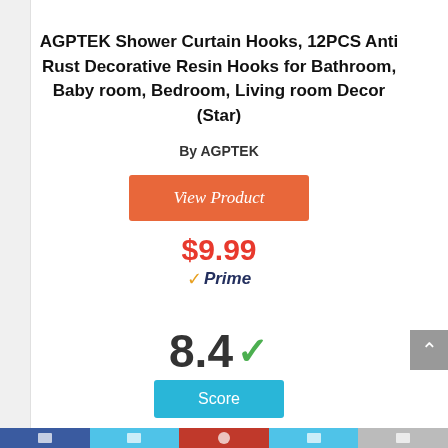AGPTEK Shower Curtain Hooks, 12PCS Anti Rust Decorative Resin Hooks for Bathroom, Baby room, Bedroom, Living room Decor (Star)
By AGPTEK
View Product
$9.99
Prime
8.4
Score